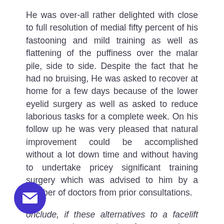He was over-all rather delighted with close to full resolution of medial fifty percent of his fastooning and mild training as well as flattening of the puffiness over the malar pile, side to side. Despite the fact that he had no bruising, He was asked to recover at home for a few days because of the lower eyelid surgery as well as asked to reduce laborious tasks for a complete week. On his follow up he was very pleased that natural improvement could be accomplished without a lot down time and without having to undertake pricey significant training surgery which was advised to him by a number of doctors from prior consultations.
onclude, if these alternatives to a facelift gery may be an option for you, please discuss with your Cosmetic surgeon to see if you might